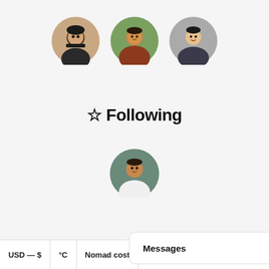[Figure (photo): Three circular avatar profile photos shown at top of a 'Following' screen in a mobile app]
☆ Following
[Figure (photo): Single circular avatar profile photo below the Following heading]
USD — $  °C  Nomad cost
Messages